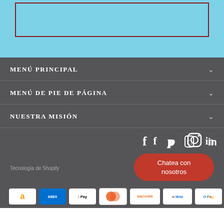[Figure (screenshot): Top cyan/light-blue section with a dark-red bordered box outline]
MENÚ PRINCIPAL
MENÚ DE PIE DE PÁGINA
NUESTRA MISIÓN
[Figure (infographic): Social media icons: Facebook, Pinterest, Instagram, LinkedIn]
Tecnología de Shopify
[Figure (infographic): Red rounded chat button: Chatea con nosotros]
[Figure (infographic): Payment method badges: Amazon, Amex, Apple Pay, Diners, Discover, Meta Pay, Google Pay]